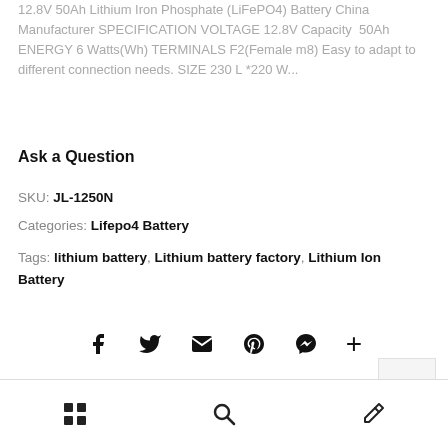12.8V 50Ah Lithium Iron Phosphate (LiFePO4) Battery China Manufacturer SPECIFICATION VOLTAGE 12.8V Capacity 50Ah ENERGY 6 Watts(Wh) TERMINALS F2(Female m8) Easy to adapt to different connection needs. SIZE 230 L *220 W...
Ask a Question
SKU: JL-1250N
Categories: Lifepo4 Battery
Tags: lithium battery, Lithium battery factory, Lithium Ion Battery
[Figure (other): Social sharing icons: Facebook, Twitter, Email, Pinterest, Messenger, More (+)]
[Figure (other): Back to top button with upward chevron]
Bottom navigation bar with grid/menu icon, search icon, and edit/pen icon